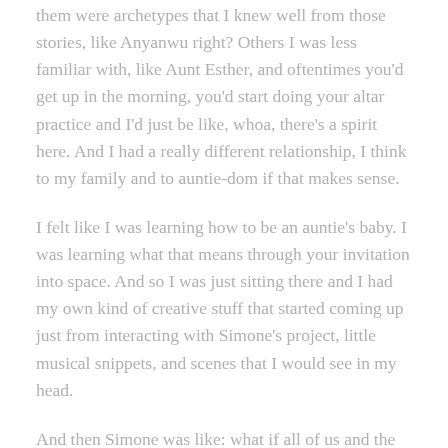them were archetypes that I knew well from those stories, like Anyanwu right? Others I was less familiar with, like Aunt Esther, and oftentimes you'd get up in the morning, you'd start doing your altar practice and I'd just be like, whoa, there's a spirit here. And I had a really different relationship, I think to my family and to auntie-dom if that makes sense.
I felt like I was learning how to be an auntie's baby. I was learning what that means through your invitation into space. And so I was just sitting there and I had my own kind of creative stuff that started coming up just from interacting with Simone's project, little musical snippets, and scenes that I would see in my head.
And then Simone was like: what if all of us and the aunties got into one space and-aunties, my dad, my mom, the instruments, let's go to a place–